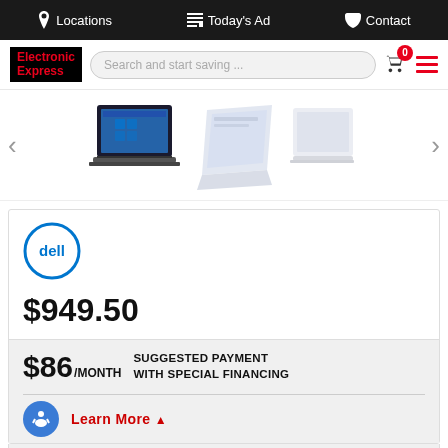Locations  Today's Ad  Contact
[Figure (logo): Electronic Express logo (red text on black background) with search bar and cart/menu icons]
[Figure (photo): Carousel of laptop/tablet product images with left and right navigation arrows]
[Figure (logo): Dell logo (blue circle with Dell text)]
$949.50
$86/MONTH  SUGGESTED PAYMENT WITH SPECIAL FINANCING
Learn More ▲
PRODUCT AVAILABILITY